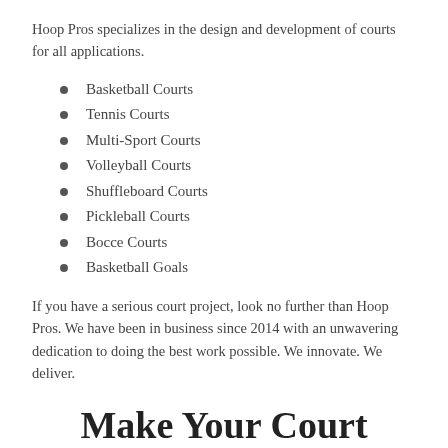Hoop Pros specializes in the design and development of courts for all applications.
Basketball Courts
Tennis Courts
Multi-Sport Courts
Volleyball Courts
Shuffleboard Courts
Pickleball Courts
Bocce Courts
Basketball Goals
If you have a serious court project, look no further than Hoop Pros. We have been in business since 2014 with an unwavering dedication to doing the best work possible. We innovate. We deliver.
Make Your Court Better Than Your Neighbors With Superior Logo and Design For Outdoor